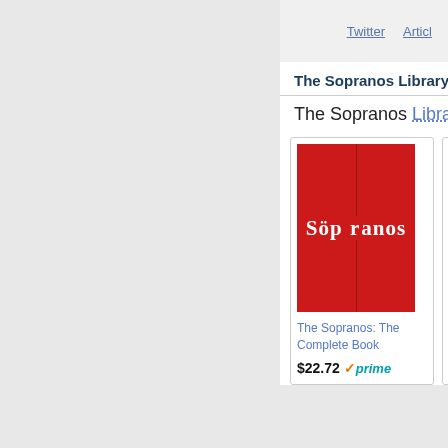Twitter   Articl   10 Ye...
The Sopranos Library
The Sopranos Library
[Figure (screenshot): Book cover of The Sopranos: The Complete Book, red background with Sopranos logo text]
The Sopranos: The Complete Book
$22.72 prime
[Figure (screenshot): Book cover of The Sopranos Cookbook, dark background with red Sopranos text]
The Sopranos Cookbook
$12.49
[Figure (screenshot): Infolinks logo bar in dark blue]
[Figure (screenshot): Nike advertisement: Nike. Just Do It — Inspiring the world's athletes, Nike delivers the deals — www.nike.com]
Nike. Just Do It
Inspiring the world's athletes, Nike delivers the deals
www.nike.com